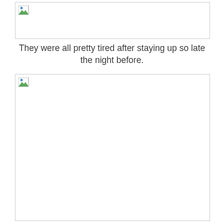[Figure (other): Empty image placeholder with broken image icon at top left — first image box at top of page]
They were all pretty tired after staying up so late the night before.
[Figure (other): Empty image placeholder with broken image icon at top left — second image box below the text]